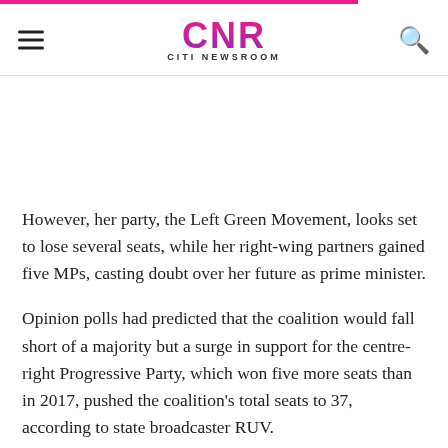CNR CITI NEWSROOM
However, her party, the Left Green Movement, looks set to lose several seats, while her right-wing partners gained five MPs, casting doubt over her future as prime minister.
Opinion polls had predicted that the coalition would fall short of a majority but a surge in support for the centre-right Progressive Party, which won five more seats than in 2017, pushed the coalition's total seats to 37, according to state broadcaster RUV.
The current government, which consists of Ms.